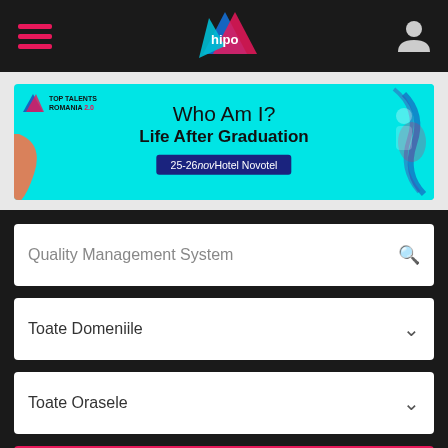hipo — navigation header with hamburger menu and user icon
[Figure (infographic): Hipo Top Talents Romania 2.0 advertisement banner in cyan: 'Who Am I? Life After Graduation 25-26nov Hotel Novotel']
Quality Management System
Toate Domeniile
Toate Orasele
Cauta